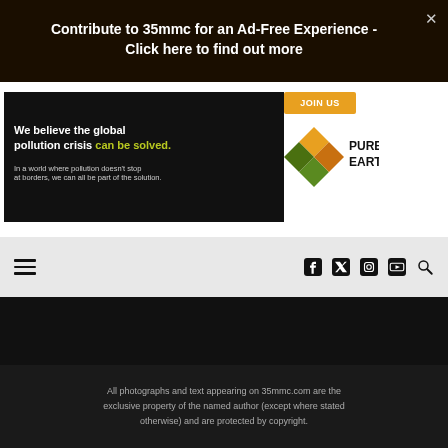Contribute to 35mmc for an Ad-Free Experience - Click here to find out more
[Figure (screenshot): Pure Earth advertisement banner: 'We believe the global pollution crisis can be solved. In a world where pollution doesn't stop at borders, we can all be part of the solution.' with Join Us button and Pure Earth logo]
[Figure (screenshot): Website navigation bar with hamburger menu icon on the left and social media icons (Facebook, Twitter, Instagram, YouTube) and search icon on the right]
All photographs and text appearing on 35mmc.com are the exclusive property of the named author (except where stated otherwise) and are protected by copyright.